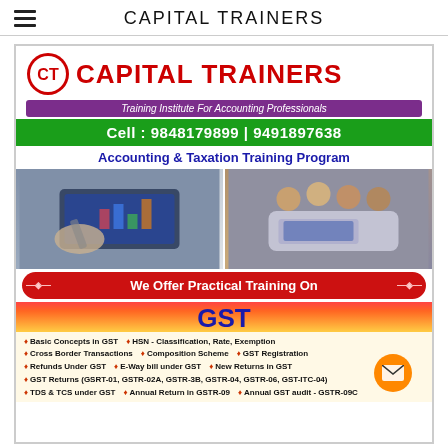CAPITAL TRAINERS
[Figure (infographic): Capital Trainers advertisement for Accounting & Taxation Training Program featuring logo, phone numbers, course photos, and GST curriculum details]
Cell : 9848179899 | 9491897638
Accounting & Taxation Training Program
We Offer Practical Training On
GST
Basic Concepts in GST
HSN - Classification, Rate, Exemption
Cross Border Transactions
Composition Scheme
GST Registration
Refunds Under GST
E-Way bill under GST
New Returns in GST
GST Returns (GSRT-01, GSTR-02A, GSTR-3B, GSTR-04, GSTR-06, GST-ITC-04)
TDS & TCS under GST
Annual Return in GSTR-09
Annual GST audit - GSTR-09C